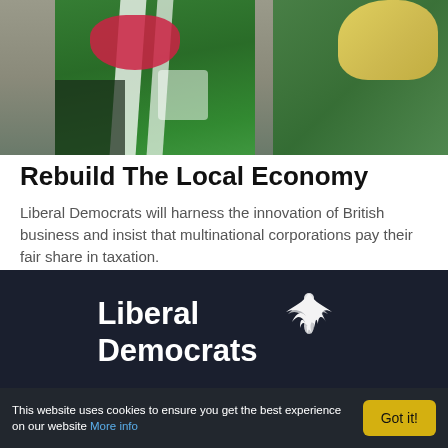[Figure (photo): Two people wearing green high-visibility vests; one has a red scarf, the other has blonde hair. They appear to be at an event or campaign activity.]
Rebuild The Local Economy
Liberal Democrats will harness the innovation of British business and insist that multinational corporations pay their fair share in taxation.
[Figure (logo): Liberal Democrats logo — party name text with bird/dove emblem in white on dark background]
This website uses cookies to ensure you get the best experience on our website More info